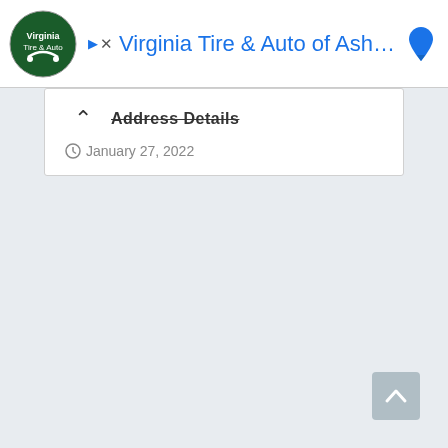[Figure (screenshot): Advertisement banner for Virginia Tire & Auto of Ashburn with logo, play button, close button, and pin icon]
Address Details
January 27, 2022
[Figure (other): Scroll-to-top button with upward chevron arrow]